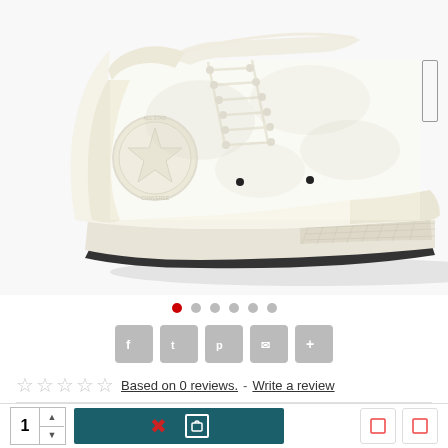[Figure (photo): White Converse Chuck Taylor All Star high-top sneaker on white background, side profile view showing the iconic star logo patch and cream-colored canvas upper with white laces and chunky sole]
• • • • • •  (carousel navigation dots, first active/red)
Share buttons: Facebook, Twitter, Pinterest, Email, More
☆☆☆☆☆  Based on 0 reviews.  -  Write a review
IN STOCK
Model: A011820